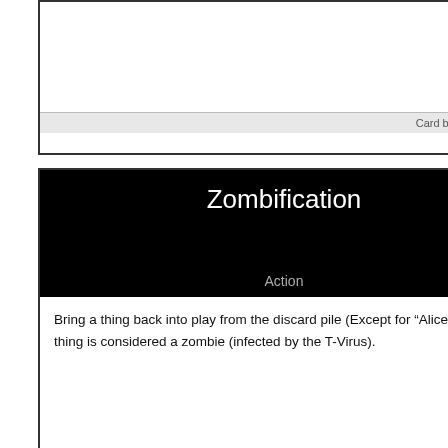Card by NinjaWarrior
Zombification
Action
Bring a thing back into play from the discard pile (Except for "Alice"). That thing is considered a zombie (infected by the T-Virus).
Card by NinjaWookiee
Hunter
Thing